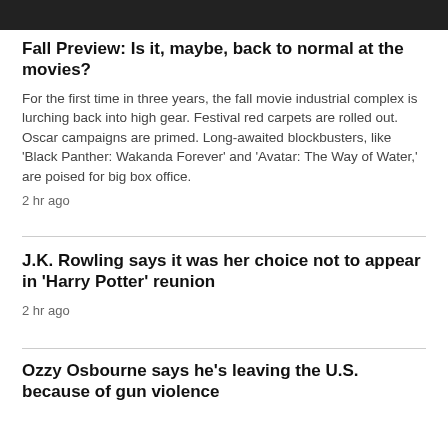[Figure (photo): Dark image strip at top of page, partial view of a photo]
Fall Preview: Is it, maybe, back to normal at the movies?
For the first time in three years, the fall movie industrial complex is lurching back into high gear. Festival red carpets are rolled out. Oscar campaigns are primed. Long-awaited blockbusters, like 'Black Panther: Wakanda Forever' and 'Avatar: The Way of Water,' are poised for big box office.
2 hr ago
J.K. Rowling says it was her choice not to appear in 'Harry Potter' reunion
2 hr ago
Ozzy Osbourne says he's leaving the U.S. because of gun violence